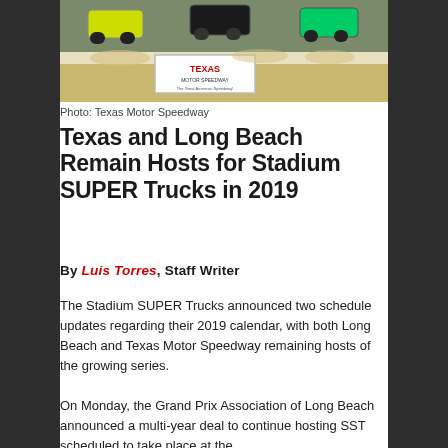[Figure (photo): Racing trucks (Stadium SUPER Trucks) mid-air at Texas Motor Speedway, with Texas Motor Speedway signage visible in the background]
Photo: Texas Motor Speedway
Texas and Long Beach Remain Hosts for Stadium SUPER Trucks in 2019
By Luis Torres, Staff Writer
The Stadium SUPER Trucks announced two schedule updates regarding their 2019 calendar, with both Long Beach and Texas Motor Speedway remaining hosts of the growing series.
On Monday, the Grand Prix Association of Long Beach announced a multi-year deal to continue hosting SST scheduled to take place at the